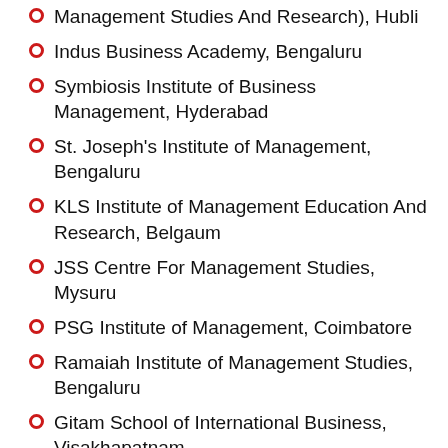Management Studies And Research), Hubli
Indus Business Academy, Bengaluru
Symbiosis Institute of Business Management, Hyderabad
St. Joseph's Institute of Management, Bengaluru
KLS Institute of Management Education And Research, Belgaum
JSS Centre For Management Studies, Mysuru
PSG Institute of Management, Coimbatore
Ramaiah Institute of Management Studies, Bengaluru
Gitam School of International Business, Visakhapatnam
Siva Sivani Institute of Management, Hyderabad
Hindustan Institute of Technology, Coimbatore